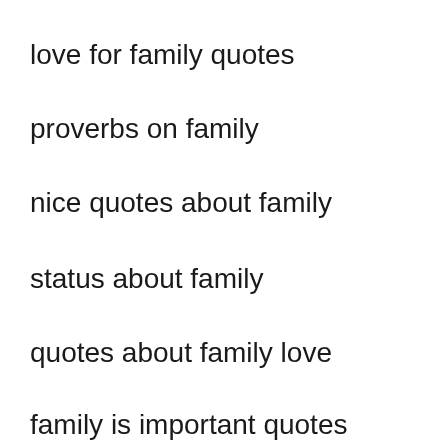love for family quotes
proverbs on family
nice quotes about family
status about family
quotes about family love
family is important quotes
friends and family quotes